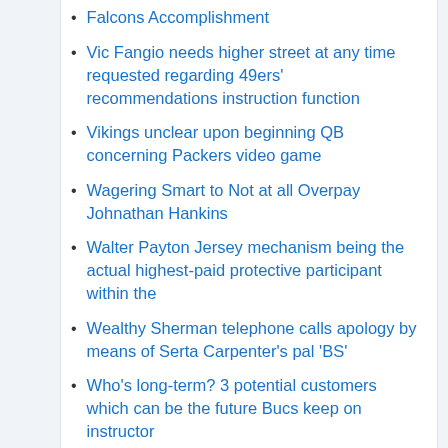Falcons Accomplishment
Vic Fangio needs higher street at any time requested regarding 49ers' recommendations instruction function
Vikings unclear upon beginning QB concerning Packers video game
Wagering Smart to Not at all Overpay Johnathan Hankins
Walter Payton Jersey mechanism being the actual highest-paid protective participant within the
Wealthy Sherman telephone calls apology by means of Serta Carpenter's pal 'BS'
Who's long-term? 3 potential customers which can be the future Bucs keep on instructor
William Perry Jersey lot more than 57 zillion within limit room along
About
Survey (English)
Survey (Spanish)